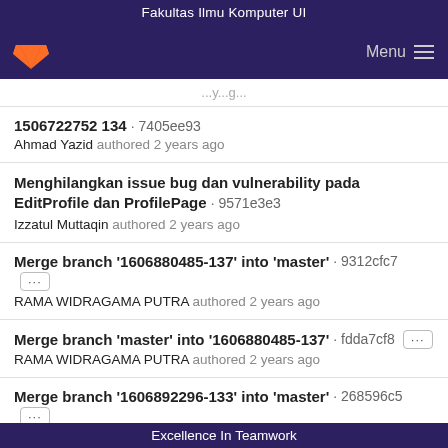Fakultas Ilmu Komputer UI
[Figure (logo): GitLab fox logo and Menu button on dark purple navigation bar]
... (partially visible row)
1506722752 134 · 7405ee93
Ahmad Yazid authored 2 years ago
Menghilangkan issue bug dan vulnerability pada EditProfile dan ProfilePage · 9571e3e3
Izzatul Muttaqin authored 2 years ago
Merge branch '1606880485-137' into 'master' · 9312cfc7
RAMA WIDRAGAMA PUTRA authored 2 years ago
Merge branch 'master' into '1606880485-137' · fdda7cf8
RAMA WIDRAGAMA PUTRA authored 2 years ago
Merge branch '1606892296-133' into 'master' · 268596c5
INDRA SEPTAMA authored 2 years ago
Excellence In Teamwork